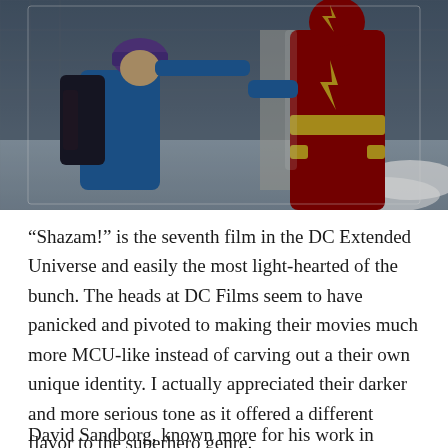[Figure (photo): Movie still from Shazam! showing a child in a blue jacket with a backpack looking up at a person in a red and gold superhero costume (Shazam), set in a snowy outdoor environment with a chain-link fence in the background.]
“Shazam!” is the seventh film in the DC Extended Universe and easily the most light-hearted of the bunch. The heads at DC Films seem to have panicked and pivoted to making their movies much more MCU-like instead of carving out a their own unique identity. I actually appreciated their darker and more serious tone as it offered a different flavor to the superhero genre.
David Sandborg, known more for his work in horror